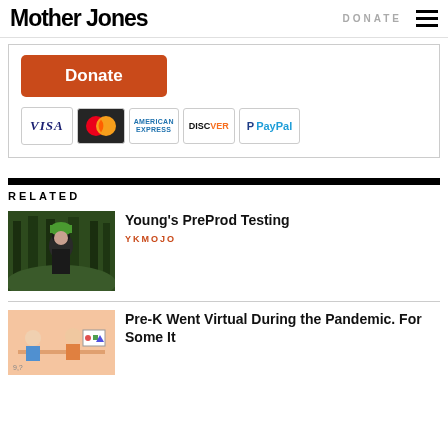Mother Jones | DONATE
[Figure (other): Donate button with payment icons: VISA, MasterCard, American Express, Discover, PayPal]
RELATED
[Figure (photo): Forest scene with person wearing green wig and dark clothing]
Young's PreProd Testing
YKMOJO
[Figure (illustration): Illustration with pink/peach background showing cartoon children]
Pre-K Went Virtual During the Pandemic. For Some It